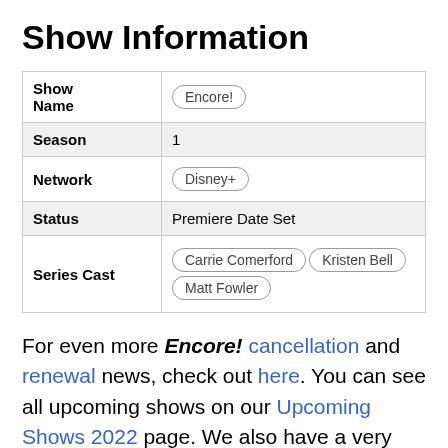Show Information
| Field | Value |
| --- | --- |
| Show Name | Encore! |
| Season | 1 |
| Network | Disney+ |
| Status | Premiere Date Set |
| Series Cast | Carrie Comerford  Kristen Bell  Matt Fowler |
For even more Encore! cancellation and renewal news, check out here. You can see all upcoming shows on our Upcoming Shows 2022 page. We also have a very handy "What's New" page where you